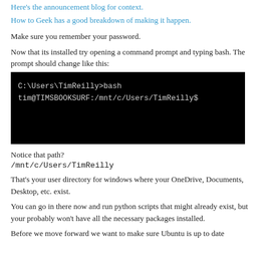Here's the announcement blog for context.
How to Geek has a good breakdown of making it happen.
Make sure you remember your password.
Now that its installed try opening a command prompt and typing bash. The prompt should change like this:
[Figure (screenshot): Terminal window showing bash prompt: C:\Users\TimReilly>bash and tim@TIMSBOOKSURF:/mnt/c/Users/TimReilly$]
Notice that path?
/mnt/c/Users/TimReilly
That's your user directory for windows where your OneDrive, Documents, Desktop, etc. exist.
You can go in there now and run python scripts that might already exist, but your probably won't have all the necessary packages installed.
Before we move forward we want to make sure Ubuntu is up to date